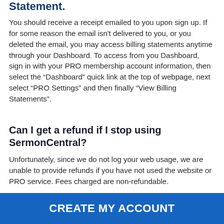Statement.
You should receive a receipt emailed to you upon sign up. If for some reason the email isn't delivered to you, or you deleted the email, you may access billing statements anytime through your Dashboard. To access from you Dashboard, sign in with your PRO membership account information, then select the “Dashboard” quick link at the top of webpage, next select “PRO Settings” and then finally “View Billing Statements”.
Can I get a refund if I stop using SermonCentral?
Unfortunately, since we do not log your web usage, we are unable to provide refunds if you have not used the website or PRO service. Fees charged are non-refundable.
CREATE MY ACCOUNT